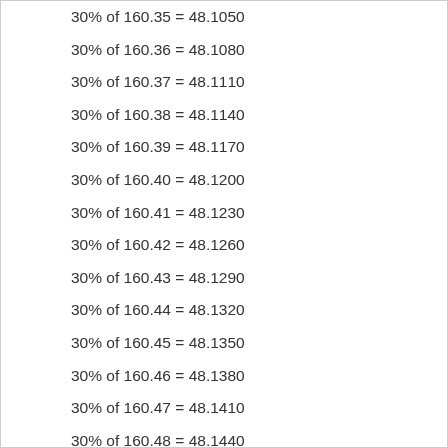30% of 160.35 = 48.1050
30% of 160.36 = 48.1080
30% of 160.37 = 48.1110
30% of 160.38 = 48.1140
30% of 160.39 = 48.1170
30% of 160.40 = 48.1200
30% of 160.41 = 48.1230
30% of 160.42 = 48.1260
30% of 160.43 = 48.1290
30% of 160.44 = 48.1320
30% of 160.45 = 48.1350
30% of 160.46 = 48.1380
30% of 160.47 = 48.1410
30% of 160.48 = 48.1440